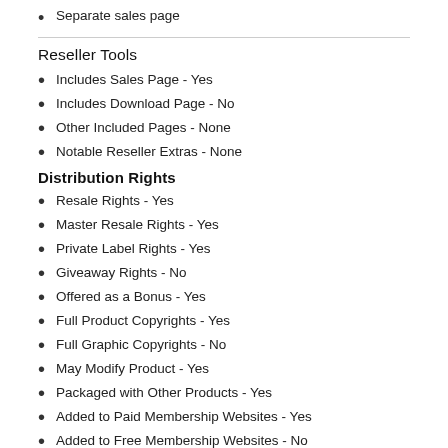Separate sales page
Reseller Tools
Includes Sales Page - Yes
Includes Download Page - No
Other Included Pages - None
Notable Reseller Extras - None
Distribution Rights
Resale Rights - Yes
Master Resale Rights - Yes
Private Label Rights - Yes
Giveaway Rights - No
Offered as a Bonus - Yes
Full Product Copyrights - Yes
Full Graphic Copyrights - No
May Modify Product - Yes
Packaged with Other Products - Yes
Added to Paid Membership Websites - Yes
Added to Free Membership Websites - No
May Publish Offline - Yes